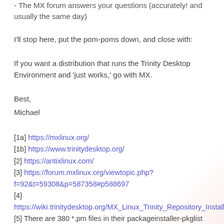- The MX forum answers your questions (accurately! and usually the same day)
I'll stop here, put the pom-poms down, and close with:
If you want a distribution that runs the Trinity Desktop Environment and 'just works,' go with MX.
Best,
Michael
[1a] https://mxlinux.org/
[1b] https://www.trinitydesktop.org/
[2] https://antixlinux.com/
[3] https://forum.mxlinux.org/viewtopic.php?f=92&t=59308&p=587358#p588697
[4] https://wiki.trinitydesktop.org/MX_Linux_Trinity_Repository_Installa
[5] There are 380 *.pm files in their packageinstaller-pkglist directory, best guess is that translates to 380 unique applications that they have already customized the install